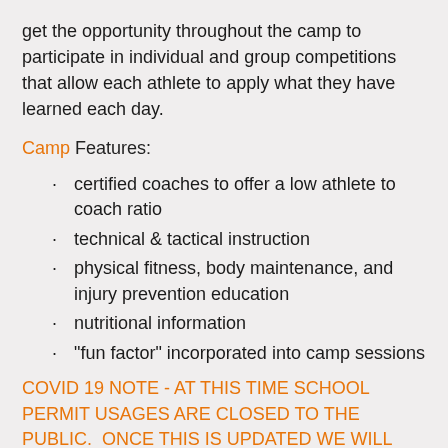get the opportunity throughout the camp to participate in individual and group competitions that allow each athlete to apply what they have learned each day.
Camp Features:
certified coaches to offer a low athlete to coach ratio
technical & tactical instruction
physical fitness, body maintenance, and injury prevention education
nutritional information
"fun factor" incorporated into camp sessions
COVID 19 NOTE - AT THIS TIME SCHOOL PERMIT USAGES ARE CLOSED TO THE PUBLIC.  ONCE THIS IS UPDATED WE WILL UPDATE THE OPERATION OUR OUR CAMP
Fall Camps